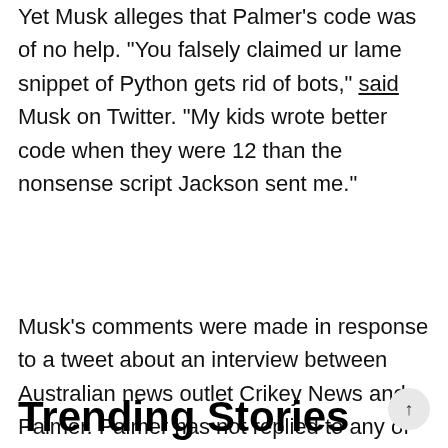Yet Musk alleges that Palmer's code was of no help. "You falsely claimed ur lame snippet of Python gets rid of bots," said Musk on Twitter. "My kids wrote better code when they were 12 than the nonsense script Jackson sent me."
Musk's comments were made in response to a tweet about an interview between Australian news outlet Crikey News and Palmer. Palmer has not replied to any of the comments as of press time.
Trending Stories